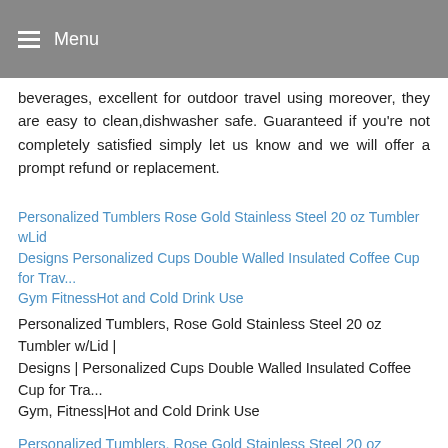Menu
beverages, excellent for outdoor travel using moreover, they are easy to clean,dishwasher safe. Guaranteed if you're not completely satisfied simply let us know and we will offer a prompt refund or replacement.
[Figure (other): Broken image placeholder for Personalized Tumblers Rose Gold Stainless Steel 20 oz Tumbler wLid Designs Personalized Cups Double Walled Insulated Coffee Cup for Travel Gym Fitness Hot and Cold Drink Use]
Personalized Tumblers Rose Gold Stainless Steel 20 oz Tumbler wLid | Designs Personalized Cups Double Walled Insulated Coffee Cup for Travel Gym Fitness|Hot and Cold Drink Use (link)
Personalized Tumblers, Rose Gold Stainless Steel 20 oz Tumbler w/Lid | Designs | Personalized Cups Double Walled Insulated Coffee Cup for Travel, Gym, Fitness|Hot and Cold Drink Use
Personalized Tumblers, Rose Gold Stainless Steel 20 oz Tumbler w/Lid | 18 Different Designs | Personalized Cups Double Walled Insulated Coffee Cup for Travel, Work, Gym, Fitness|Hot and Cold Drink Use - Smart, double-wall insulation, our versatile tumbler cups are designed with a vacuum seal to help retain hot and cold temperatures for hours while also eliminating condensation to keep hands protected fits most of the cup holders. Pick from 18 designs &